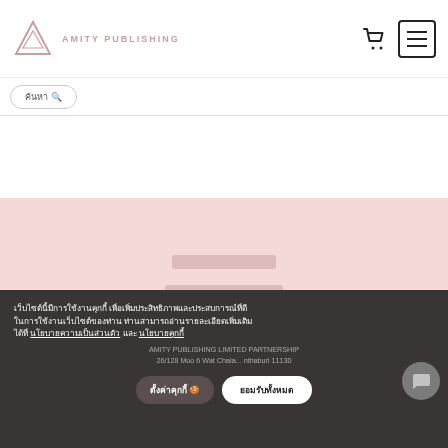AMITY PUBLISHING
เว็บไซต์นี้มีการใช้งานคุกกี้ เพื่อเพิ่มประสิทธิภาพและประสบการณ์ที่ดีในการใช้งานเว็บไซต์ของท่าน ท่านสามารถอ่านรายละเอียดเพิ่มเติมได้ที่ นโยบายความเป็นส่วนตัว และ นโยบายคุกกี้
AMITY PUBLISHING LIMITED PARTNERSHIP
26/128 Moo 6 Wat Chala... nthaburi 11130
ตั้งค่าคุกกี้
ยอมรับทั้งหมด